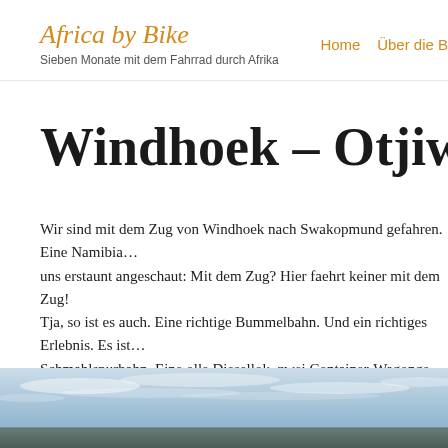Africa by Bike — Sieben Monate mit dem Fahrrad durch Afrika | Home | Über die ...
Windhoek – Otjiwarongu...
Wir sind mit dem Zug von Windhoek nach Swakopmund gefahren. Eine Namibia... uns erstaunt angeschaut: Mit dem Zug? Hier faehrt keiner mit dem Zug! Tja, so ist es auch. Eine richtige Bummelbahn. Und ein richtiges Erlebnis. Es ist... Schmahlspurbahn. Eine olle Diesellok, zwei Container-Wagongs, ein Personen-... ein leerer Wagon und ein weiterer Container-Wagon in dem unsere Raeder ware... lustige Spielzeugzug fuhr dann ihm wahnwitzig langsamen Tempo durch die Na... 300 Kilometer braucht er 10 Stunden.
[Figure (photo): Sky and landscape photo strip at bottom of page showing blue sky with clouds and dark ground/horizon.]